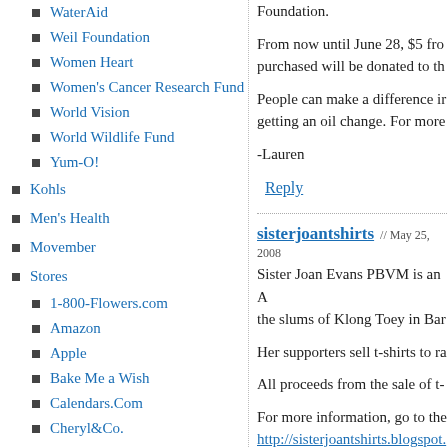WaterAid
Weil Foundation
Women Heart
Women's Cancer Research Fund
World Vision
World Wildlife Fund
Yum-O!
Kohls
Men's Health
Movember
Stores
1-800-Flowers.com
Amazon
Apple
Bake Me a Wish
Calendars.Com
Cheryl&Co.
Foundation.
From now until June 28, $5 from every oil change purchased will be donated to th
People can make a difference in getting an oil change. For more
-Lauren
Reply
sisterjoantshirts // May 25, 2008
Sister Joan Evans PBVM is an A the slums of Klong Toey in Ban
Her supporters sell t-shirts to ra
All proceeds from the sale of t-
For more information, go to the
http://sisterjoantshirts.blogspot.